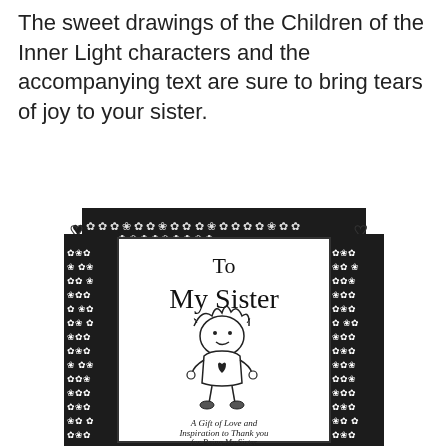The sweet drawings of the Children of the Inner Light characters and the accompanying text are sure to bring tears of joy to your sister.
[Figure (illustration): A greeting card for a sister. The card has a dark floral patterned border with hearts at the top corners. Inside is a white panel with handwritten-style text reading 'To My Sister' and a cute cartoon drawing of a little girl with wild hair wearing a dress with a heart. Below the illustration is cursive text reading 'A Gift of Love and Inspiration to Thank you for Being My Sister'.]